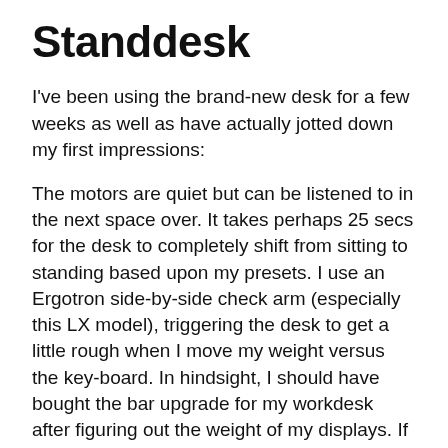Standdesk
I've been using the brand-new desk for a few weeks as well as have actually jotted down my first impressions:
The motors are quiet but can be listened to in the next space over. It takes perhaps 25 secs for the desk to completely shift from sitting to standing based upon my presets. I use an Ergotron side-by-side check arm (especially this LX model), triggering the desk to get a little rough when I move my weight versus the key-board. In hindsight, I should have bought the bar upgrade for my workdesk after figuring out the weight of my displays. If you intend to do a dual screen configuration, get the upgrade.